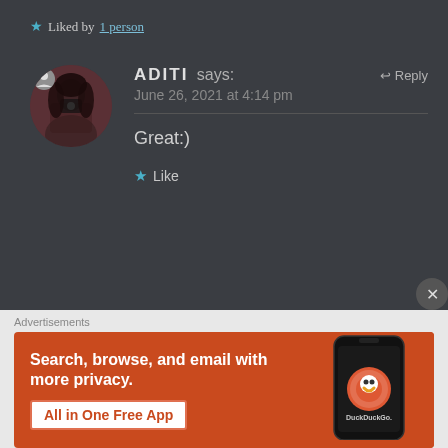★ Liked by 1 person
ADITI says: June 26, 2021 at 4:14 pm — Reply
Great:)
★ Like
Advertisements
[Figure (screenshot): DuckDuckGo advertisement banner: orange background with white bold text 'Search, browse, and email with more privacy.' and a white button 'All in One Free App'. Right side shows a smartphone with the DuckDuckGo app and logo.]